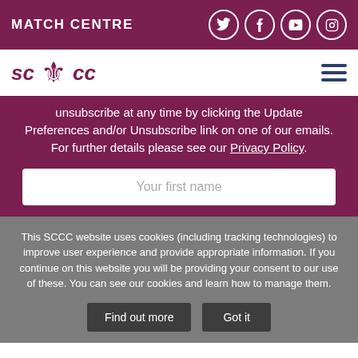MATCH CENTRE
[Figure (logo): SCCC logo with lion crest]
unsubscribe at any time by clicking the Update Preferences and/or Unsubscribe link on one of our emails. For further details please see our Privacy Policy.
Your first name
This SCCC website uses cookies (including tracking technologies) to improve user experience and provide appropriate information. If you continue on this website you will be providing your consent to our use of these. You can see our cookies and learn how to manage them.
Find out more
Got it